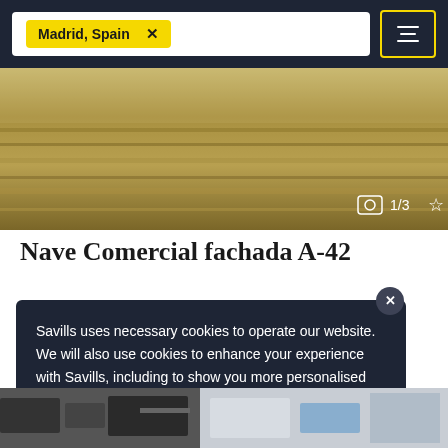Madrid, Spain ×
[Figure (photo): Aerial landscape photo showing dry grassland/scrubland terrain, image counter showing 1/3 with star bookmark icon]
Nave Comercial fachada A-42
Savills uses necessary cookies to operate our website. We will also use cookies to enhance your experience with Savills, including to show you more personalised content and tailored advertisements, if you select "Allow all cookies". Find out more.
Allow all cookies
[Figure (photo): Partial view of industrial/commercial property interior or equipment]